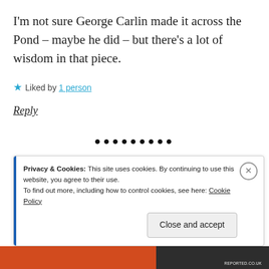I'm not sure George Carlin made it across the Pond – maybe he did – but there's a lot of wisdom in that piece.
★ Liked by 1 person
Reply
•••••••••
Privacy & Cookies: This site uses cookies. By continuing to use this website, you agree to their use.
To find out more, including how to control cookies, see here: Cookie Policy
Close and accept